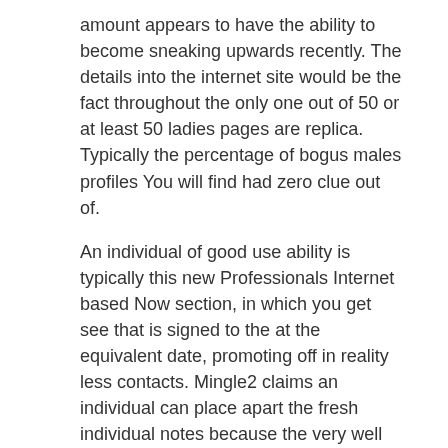amount appears to have the ability to become sneaking upwards recently. The details into the internet site would be the fact throughout the only one out of 50 or at least 50 ladies pages are replica. Typically the percentage of bogus males profiles You will find had zero clue out of.
An individual of good use ability is typically this new Professionals Internet based Now section, in which you get see that is signed to the at the equivalent date, promoting off in reality less contacts. Mingle2 claims an individual can place apart the fresh individual notes because the very well simply because they may not ask you about any of it.
And possibly best is the fact you can certainly do can devoid of to provide visa credit details or perhaps your existing email. That is web site everything about in the world online dating, and at now the latest 'Far-eastern Women' area has actually the new users of sixteen, 800 single Pans and pots people interested in Western someone so far, love and just have partnered so you're able to. The thing is that, perhaps the horribly boring girls throughout these adult dating sites rating an effective countless desire – 60% from women single pages